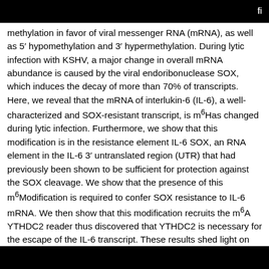fi
methylation in favor of viral messenger RNA (mRNA), as well as 5′ hypomethylation and 3′ hypermethylation. During lytic infection with KSHV, a major change in overall mRNA abundance is caused by the viral endoribonuclease SOX, which induces the decay of more than 70% of transcripts. Here, we reveal that the mRNA of interlukin-6 (IL-6), a well-characterized and SOX-resistant transcript, is m6Has changed during lytic infection. Furthermore, we show that this modification is in the resistance element IL-6 SOX, an RNA element in the IL-6 3′ untranslated region (UTR) that had previously been shown to be sufficient for protection against the SOX cleavage. We show that the presence of this m6Modification is required to confer SOX resistance to IL-6 mRNA. We then show that this modification recruits the m6A YTHDC2 reader thus discovered that YTHDC2 is necessary for the escape of the IL-6 transcript. These results shed light on how the host cell has evolved to use RNA modifications to circumvent viral manipulation of RNA fate upon KSHV infection.